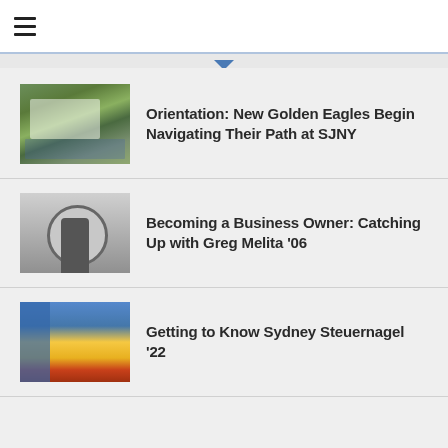≡ (hamburger menu)
Orientation: New Golden Eagles Begin Navigating Their Path at SJNY
Becoming a Business Owner: Catching Up with Greg Melita '06
Getting to Know Sydney Steuernagel '22